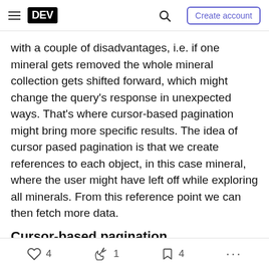DEV | Search | Create account
with a couple of disadvantages, i.e. if one mineral gets removed the whole mineral collection gets shifted forward, which might change the query's response in unexpected ways. That's where cursor-based pagination might bring more specific results. The idea of cursor pased pagination is that we create references to each object, in this case mineral, where the user might have left off while exploring all minerals. From this reference point we can then fetch more data.
Cursor-based pagination
4  1  4  ...